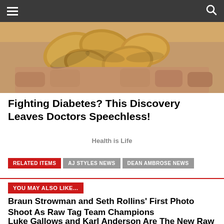Navigation bar with hamburger menu and search icon
[Figure (photo): Close-up photo of a hand holding cashew nuts]
Fighting Diabetes? This Discovery Leaves Doctors Speechless!
Health is Life
RELATED ITEMS
AJ STYLES NEWS
DEAN AMBROSE NEWS
YOU MAY ALSO LIKE...
Braun Strowman and Seth Rollins' First Photo Shoot As Raw Tag Team Champions
Luke Gallows and Karl Anderson Are The New Raw Tag Team